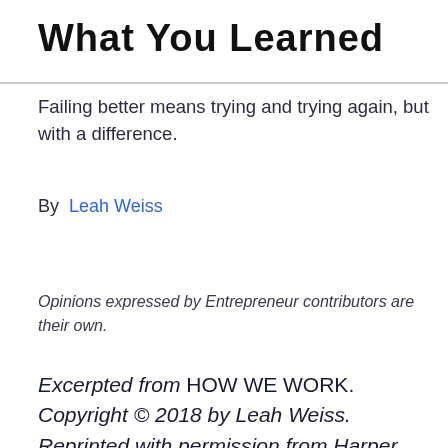What You Learned
Failing better means trying and trying again, but with a difference.
By  Leah Weiss
Opinions expressed by Entrepreneur contributors are their own.
Excerpted from HOW WE WORK. Copyright © 2018 by Leah Weiss. Reprinted with permission from Harper Wave, an imprint of